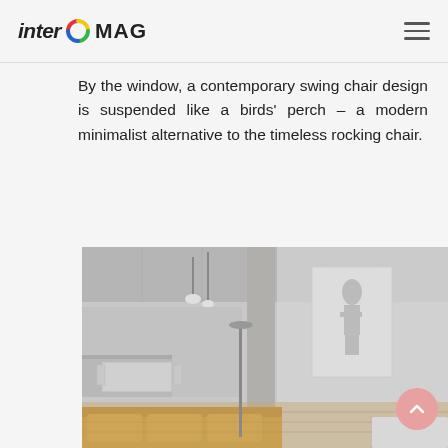inter MAG
By the window, a contemporary swing chair design is suspended like a birds' perch – a modern minimalist alternative to the timeless rocking chair.
[Figure (photo): Interior design photo of a contemporary open-plan living space with concrete ceiling, yellow/mustard sofa, pendant lights, dining table, and a frosted glass partition wall with a figure artwork. Modern minimalist aesthetic.]